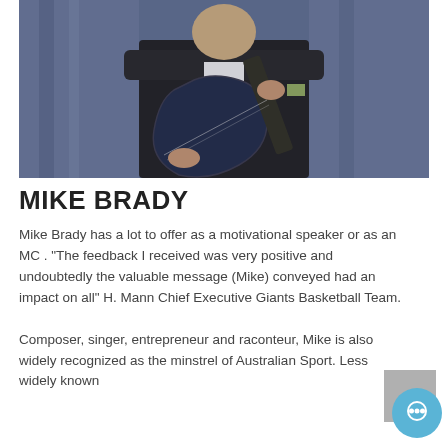[Figure (photo): Mike Brady playing an electric guitar on stage, wearing a black suit, against a blue-purple background]
MIKE BRADY
Mike Brady has a lot to offer as a motivational speaker or as an MC . "The feedback I received was very positive and undoubtedly the valuable message (Mike) conveyed had an impact on all" H. Mann Chief Executive Giants Basketball Team.
Composer, singer, entrepreneur and raconteur, Mike is also widely recognized as the minstrel of Australian Sport. Less widely known